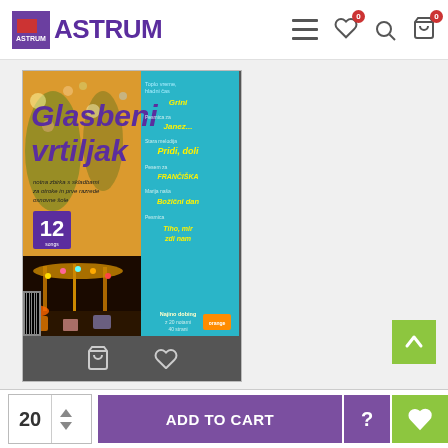[Figure (logo): Astrum logo with purple square containing red rectangle and purple ASTRUM text]
[Figure (screenshot): Product card showing book cover of 'Glasbeni vrtiljak' - a music carousel children's book, with teal background on right side listing songs, and a number 12 badge. Below the image is a dark toolbar with cart and heart icons.]
[Figure (other): Green scroll-to-top button with upward arrow in bottom right]
[Figure (infographic): Bottom add-to-cart bar with quantity 20, ADD TO CART button, help icon, and wishlist heart icon]